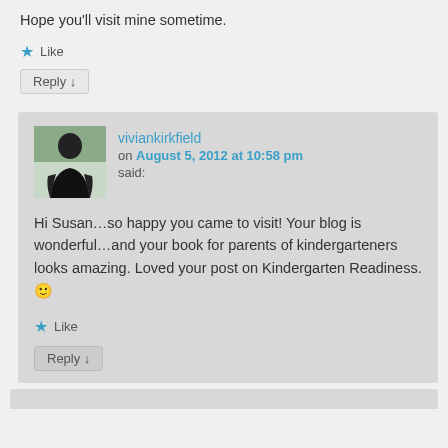Hope you'll visit mine sometime.
★ Like
Reply ↓
viviankirkfield
on August 5, 2012 at 10:58 pm said:
Hi Susan…so happy you came to visit! Your blog is wonderful…and your book for parents of kindergarteners looks amazing. Loved your post on Kindergarten Readiness. 🙂
★ Like
Reply ↓